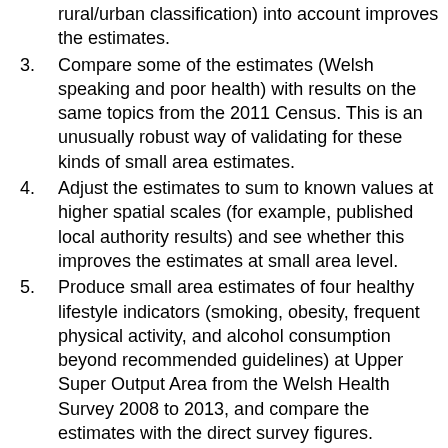rural/urban classification) into account improves the estimates.
3. Compare some of the estimates (Welsh speaking and poor health) with results on the same topics from the 2011 Census. This is an unusually robust way of validating for these kinds of small area estimates.
4. Adjust the estimates to sum to known values at higher spatial scales (for example, published local authority results) and see whether this improves the estimates at small area level.
5. Produce small area estimates of four healthy lifestyle indicators (smoking, obesity, frequent physical activity, and alcohol consumption beyond recommended guidelines) at Upper Super Output Area from the Welsh Health Survey 2008 to 2013, and compare the estimates with the direct survey figures. Examine the potential for producing robust small area estimates for small diet.